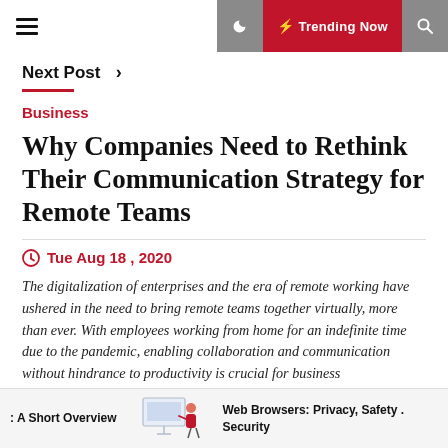≡  🌙  ⚡ Trending Now  🔍
Next Post ›
Business
Why Companies Need to Rethink Their Communication Strategy for Remote Teams
Tue Aug 18 , 2020
The digitalization of enterprises and the era of remote working have ushered in the need to bring remote teams together virtually, more than ever. With employees working from home for an indefinite time due to the pandemic, enabling collaboration and communication without hindrance to productivity is crucial for business
: A Short Overview   Web Browsers: Privacy, Safety . Security